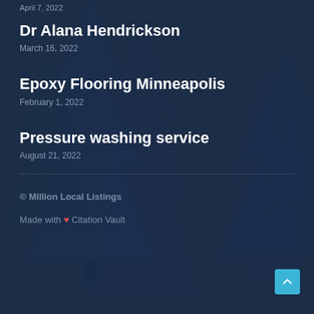April 7, 2022
Dr Alana Hendrickson
March 16, 2022
Epoxy Flooring Minneapolis
February 1, 2022
Pressure washing service
August 21, 2022
© Million Local Listings
Made with ❤ Citation Vault